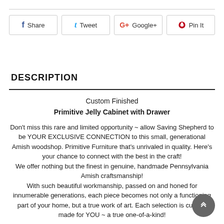[Figure (infographic): Social share buttons: Facebook Share, Twitter Tweet, Google+ Google+, Pinterest Pin It]
DESCRIPTION
Custom Finished
Primitive Jelly Cabinet with Drawer
Don't miss this rare and limited opportunity ~ allow Saving Shepherd to be YOUR EXCLUSIVE CONNECTION to this small, generational Amish woodshop. Primitive Furniture that's unrivaled in quality. Here's your chance to connect with the best in the craft!
We offer nothing but the finest in genuine, handmade Pennsylvania Amish craftsmanship!
With such beautiful workmanship, passed on and honed for innumerable generations, each piece becomes not only a functioning part of your home, but a true work of art. Each selection is custom made for YOU ~ a true one-of-a-kind!